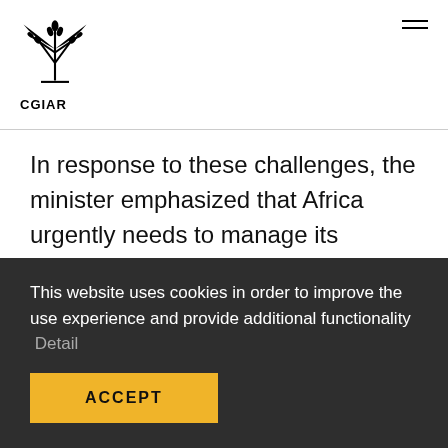CGIAR
In response to these challenges, the minister emphasized that Africa urgently needs to manage its fisheries resources, optimize benefits from capture fisheries and support sustainable models of aquaculture.
This website uses cookies in order to improve the use experience and provide additional functionality  Detail
ACCEPT